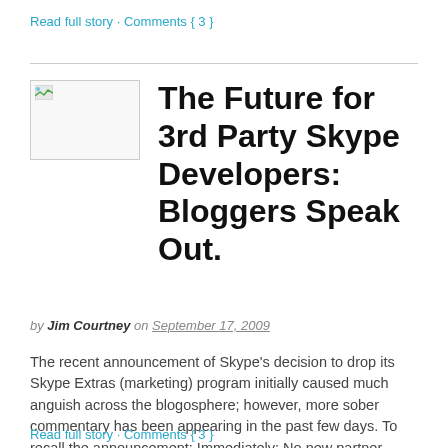Read full story · Comments { 3 }
The Future for 3rd Party Skype Developers: Bloggers Speak Out.
by Jim Courtney on September 17, 2009
The recent announcement of Skype's decision to drop its Skype Extras (marketing) program initially caused much anguish across the blogosphere; however, more sober commentary has been appearing in the past few days. To recall the announcement: Immediately: No new partner programs or upgrades will be placed into the Skype Extras Going forward: Skype Extras will […]
Read full story · Comments { 3 }